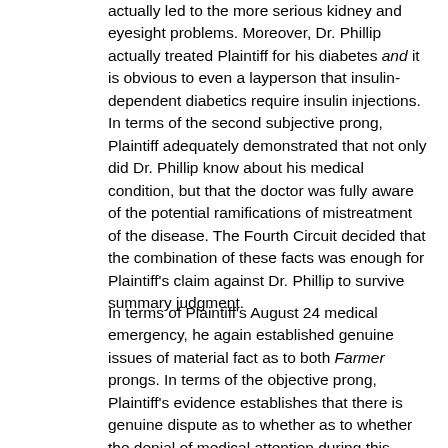actually led to the more serious kidney and eyesight problems. Moreover, Dr. Phillip actually treated Plaintiff for his diabetes and it is obvious to even a layperson that insulin-dependent diabetics require insulin injections. In terms of the second subjective prong, Plaintiff adequately demonstrated that not only did Dr. Phillip know about his medical condition, but that the doctor was fully aware of the potential ramifications of mistreatment of the disease. The Fourth Circuit decided that the combination of these facts was enough for Plaintiff's claim against Dr. Phillip to survive summary judgment.
In terms of Plaintiff's August 24 medical emergency, he again established genuine issues of material fact as to both Farmer prongs. In terms of the objective prong, Plaintiff's evidence establishes that there is genuine dispute as to whether as to whether the denial of medical attention during this emergency resulted in